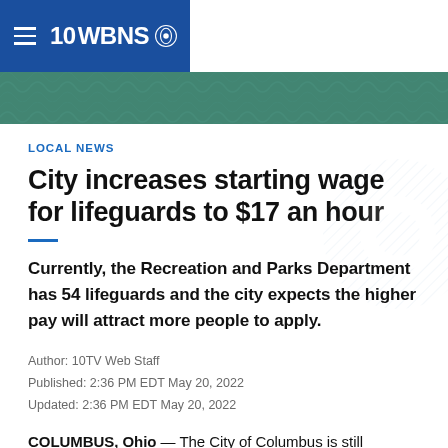10WBNS CBS
[Figure (photo): Aerial or overhead photo of a swimming pool with turquoise water, used as hero banner image]
LOCAL NEWS
City increases starting wage for lifeguards to $17 an hour
Currently, the Recreation and Parks Department has 54 lifeguards and the city expects the higher pay will attract more people to apply.
Author: 10TV Web Staff
Published: 2:36 PM EDT May 20, 2022
Updated: 2:36 PM EDT May 20, 2022
COLUMBUS, Ohio — The City of Columbus is still searching for lifeguards for the summer. This year, those applying can expect to be paid $17 an hour.